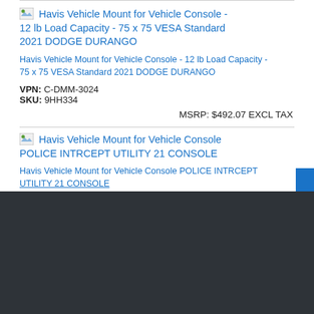[Figure (screenshot): Broken image icon placeholder for Havis Vehicle Mount product listing]
Havis Vehicle Mount for Vehicle Console - 12 lb Load Capacity - 75 x 75 VESA Standard 2021 DODGE DURANGO
Havis Vehicle Mount for Vehicle Console - 12 lb Load Capacity - 75 x 75 VESA Standard 2021 DODGE DURANGO
VPN: C-DMM-3024
SKU: 9HH334
MSRP: $492.07 EXCL TAX
[Figure (screenshot): Broken image icon placeholder for Havis Vehicle Mount for Vehicle Console POLICE INTRCEPT UTILITY 21 CONSOLE]
Havis Vehicle Mount for Vehicle Console POLICE INTRCEPT UTILITY 21 CONSOLE
Havis Vehicle Mount for Vehicle Console POLICE INTRCEPT UTILITY 21 CONSOLE
Ingram Micro uses cookies to improve the usability of our site. By continuing to use this site you are accepting the use of these